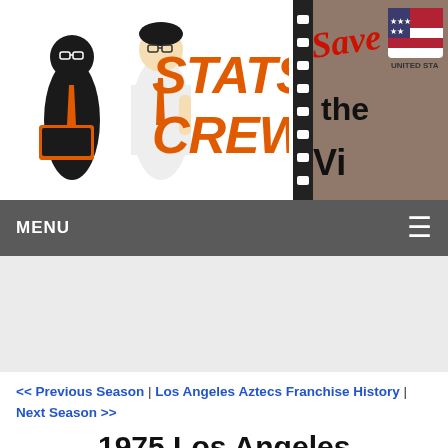[Figure (logo): Stats Crew logo with two illustrated figures and orange 'STATS CREW' text]
[Figure (illustration): Partial banner ad showing 'Save the' text with United States flag imagery]
MENU
<< Previous Season | Los Angeles Aztecs Franchise History | Next Season >>
1975 Los Angeles Aztecs